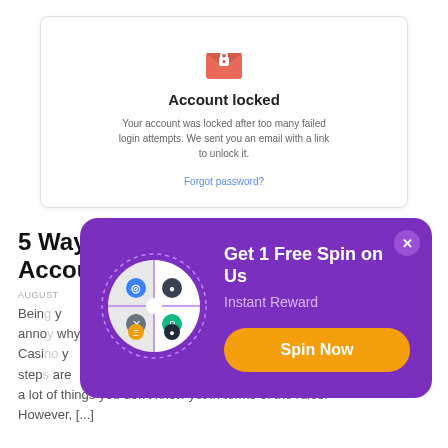[Figure (screenshot): Account locked modal screenshot showing a locked envelope icon, 'Account locked' title, message about too many failed login attempts, and a 'Forgot password?' link]
5 Ways of Getting Your Casino Account Blocked
AUGUST
Being ... annoying ... why. Casino ... y steps ... are a lot of things you don't know yet in terms of the rules. However, [...]
[Figure (infographic): Popup overlay with purple background showing a spinning wheel with crypto icons, 'Get 1 Free Spin on Us' heading, 'Instant Reward' subheading, and an orange 'Spin Now' button]